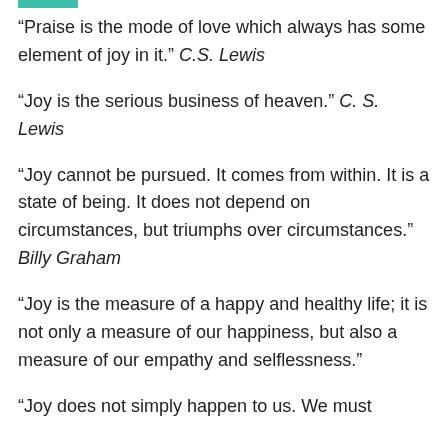“Praise is the mode of love which always has some element of joy in it.” C.S. Lewis
“Joy is the serious business of heaven.” C. S. Lewis
“Joy cannot be pursued. It comes from within. It is a state of being. It does not depend on circumstances, but triumphs over circumstances.” Billy Graham
“Joy is the measure of a happy and healthy life; it is not only a measure of our happiness, but also a measure of our empathy and selflessness.”
“Joy does not simply happen to us. We must